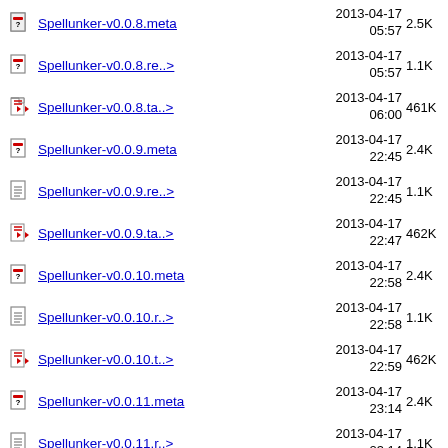Spellunker-v0.0.8.meta  2013-04-17 05:57  2.5K
Spellunker-v0.0.8.re..>  2013-04-17 05:57  1.1K
Spellunker-v0.0.8.ta..>  2013-04-17 06:00  461K
Spellunker-v0.0.9.meta  2013-04-17 22:45  2.4K
Spellunker-v0.0.9.re..>  2013-04-17 22:45  1.1K
Spellunker-v0.0.9.ta..>  2013-04-17 22:47  462K
Spellunker-v0.0.10.meta  2013-04-17 22:58  2.4K
Spellunker-v0.0.10.r..>  2013-04-17 22:58  1.1K
Spellunker-v0.0.10.t..>  2013-04-17 22:59  462K
Spellunker-v0.0.11.meta  2013-04-17 23:14  2.4K
Spellunker-v0.0.11.r..>  2013-04-17 23:14  1.1K
Spellunker-v0.0.11.t..>  2013-04-17